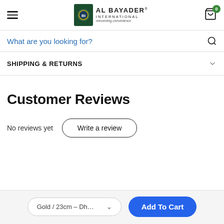AL BAYADER INTERNATIONAL reinventing convenience
What are you looking for?
SHIPPING & RETURNS
Customer Reviews
No reviews yet
Write a review
Gold / 23cm - Dh...
Add To Cart